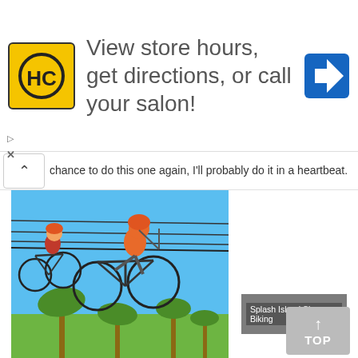[Figure (screenshot): Advertisement banner: HC logo (yellow square with black HC circle), large text 'View store hours, get directions, or call your salon!', blue diamond navigation arrow icon on right]
chance to do this one again, I'll probably do it in a heartbeat.
[Figure (photo): Two people riding bicycles suspended on a wire/cable high above the ground with palm trees below, blue sky background. Sky Biking activity at Splash Island.]
Splash Island Sky Biking
[Figure (screenshot): TOP button - grey square button with up arrow and text TOP]